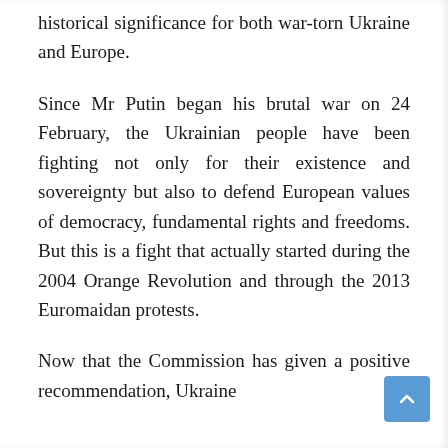historical significance for both war-torn Ukraine and Europe.
Since Mr Putin began his brutal war on 24 February, the Ukrainian people have been fighting not only for their existence and sovereignty but also to defend European values of democracy, fundamental rights and freedoms. But this is a fight that actually started during the 2004 Orange Revolution and through the 2013 Euromaidan protests.
Now that the Commission has given a positive recommendation, Ukraine